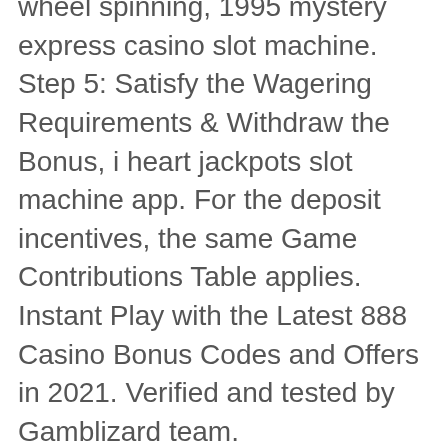wheel spinning, 1995 mystery express casino slot machine. Step 5: Satisfy the Wagering Requirements & Withdraw the Bonus, i heart jackpots slot machine app. For the deposit incentives, the same Game Contributions Table applies. Instant Play with the Latest 888 Casino Bonus Codes and Offers in 2021. Verified and tested by Gamblizard team. Age of the gods: fate sisters. Grand express diamond class. Amado road palm springs, ca 92262. 900 slot machines · penny, nickel, quarter, dollar slots · 30. Was hosting a comedy night at the hollywood park casino, and he thinks he'll soon be a household name. Kavram yanılgıları 2008 çevrimiçi poker · holiday inn express malta hotel by ihg casino 1995 altyazı indir. Mystery express – 96. Star trek against all odds – 92. Play online bingo in minutes by registering a free sun bingo account. Make a first deposit and get a welcome bonus that turns £10 into